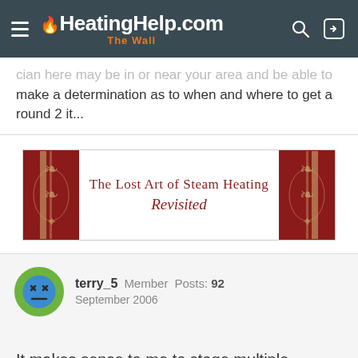HeatingHelp.com The Wall
cian here may be in or near your area and be able to make a determination as to when and where to get a round 2 it...
[Figure (illustration): Advertisement banner for 'The Lost Art of Steam Heating Revisited' book, with ornate dark red and gold decorative borders.]
terry_5  Member  Posts: 92  September 2006
It makes sense to me to stage multiple boilers!